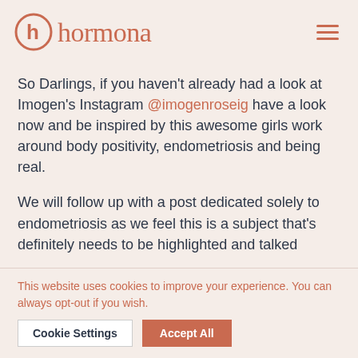hormona
So Darlings, if you haven't already had a look at Imogen's Instagram @imogenroseig have a look now and be inspired by this awesome girls work around body positivity, endometriosis and being real.
We will follow up with a post dedicated solely to endometriosis as we feel this is a subject that's definitely needs to be highlighted and talked about…
This website uses cookies to improve your experience. You can always opt-out if you wish.